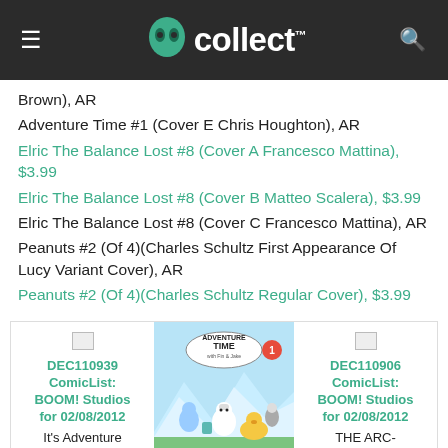GoCollect
Brown), AR
Adventure Time #1 (Cover E Chris Houghton), AR
Elric The Balance Lost #8 (Cover A Francesco Mattina), $3.99
Elric The Balance Lost #8 (Cover B Matteo Scalera), $3.99
Elric The Balance Lost #8 (Cover C Francesco Mattina), AR
Peanuts #2 (Of 4)(Charles Schultz First Appearance Of Lucy Variant Cover), AR
Peanuts #2 (Of 4)(Charles Schultz Regular Cover), $3.99
[Figure (screenshot): Three cards at bottom: DEC110939 ComicList BOOM! Studios for 02/08/2012 It's Adventure; Adventure Time #1 comic cover image; DEC110906 ComicList BOOM! Studios for 02/08/2012 THE ARC-]